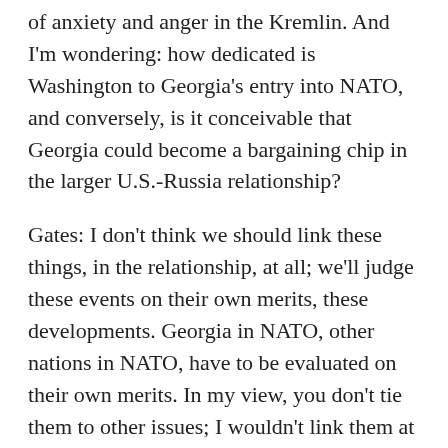of anxiety and anger in the Kremlin. And I'm wondering: how dedicated is Washington to Georgia's entry into NATO, and conversely, is it conceivable that Georgia could become a bargaining chip in the larger U.S.-Russia relationship?
Gates: I don't think we should link these things, in the relationship, at all; we'll judge these events on their own merits, these developments. Georgia in NATO, other nations in NATO, have to be evaluated on their own merits. In my view, you don't tie them to other issues; I wouldn't link them at all.
RFE/RL: So you would say there's not a risk of Georgia turning into a bargaining chip?
Gates: I don't think so, no.